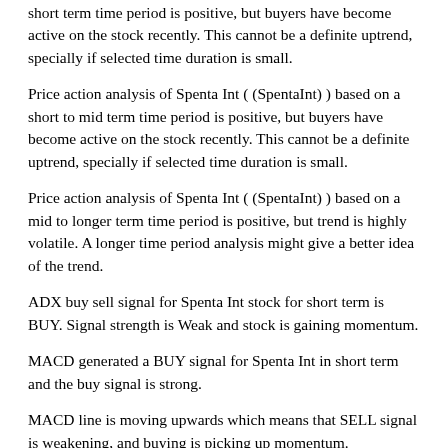short term time period is positive, but buyers have become active on the stock recently. This cannot be a definite uptrend, specially if selected time duration is small.
Price action analysis of Spenta Int ( (SpentaInt) ) based on a short to mid term time period is positive, but buyers have become active on the stock recently. This cannot be a definite uptrend, specially if selected time duration is small.
Price action analysis of Spenta Int ( (SpentaInt) ) based on a mid to longer term time period is positive, but trend is highly volatile. A longer time period analysis might give a better idea of the trend.
ADX buy sell signal for Spenta Int stock for short term is BUY. Signal strength is Weak and stock is gaining momentum.
MACD generated a BUY signal for Spenta Int in short term and the buy signal is strong.
MACD line is moving upwards which means that SELL signal is weakening, and buying is picking up momentum.
Spenta Int Stock in short term is moving inside a range for now. Please check in a day or two to for a better buy sell signal. Bulls are getting stronger in this stock.
Ichimoku cloud is of red color and prices are in or above the red cloud. Prices appear to be moving up.